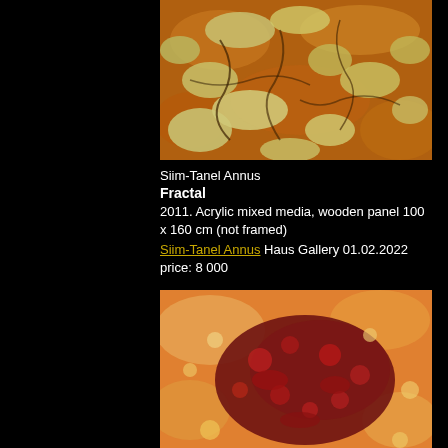[Figure (photo): Close-up photograph of a painting showing lichen-like yellowish-green organic patterns on a warm orange-brown background, resembling a fractal natural texture.]
Siim-Tanel Annus
Fractal
2011. Acrylic mixed media, wooden panel 100 x 160 cm (not framed)
Siim-Tanel Annus Haus Gallery 01.02.2022
price: 8 000
[Figure (photo): Close-up photograph of a painting showing a reddish-brown and cream/orange speckled abstract texture with dark maroon central area, resembling a fractal or organic cellular pattern.]